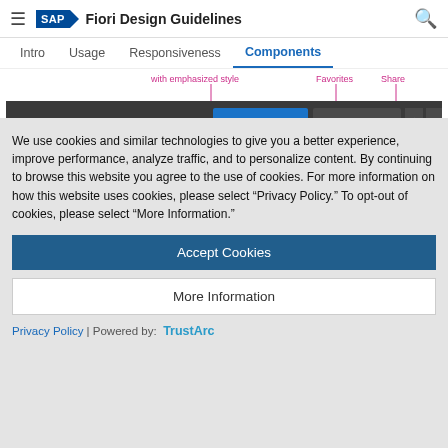SAP Fiori Design Guidelines
Intro  Usage  Responsiveness  Components
[Figure (screenshot): Partial screenshot of SAP Fiori page showing a dark toolbar with 'Add to Cart' and 'Write a Review' buttons, and pink/magenta annotation lines labeling 'with emphasized style', 'Favorites', and 'Share']
We use cookies and similar technologies to give you a better experience, improve performance, analyze traffic, and to personalize content. By continuing to browse this website you agree to the use of cookies. For more information on how this website uses cookies, please select “Privacy Policy.” To opt-out of cookies, please select “More Information.”
Accept Cookies
More Information
Privacy Policy | Powered by:  TrustArc
placed in the master header. When the user switches